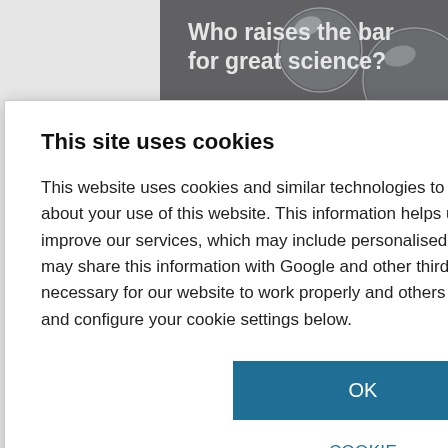[Figure (screenshot): Background website showing a dark banner with bubbles and text 'Who raises the bar for great science?' on the upper right portion, with a gray content area below showing partial text 'ur profile, sign in now.' and 'omment on', and a black divider line. A blue outlined button with 'R' is partially visible at the bottom right.]
This site uses cookies
This website uses cookies and similar technologies to store and retrieve information about your use of this website. This information helps us to provide, analyse and improve our services, which may include personalised content or advertising. We may share this information with Google and other third parties. Some cookies are necessary for our website to work properly and others are optional. You can review and configure your cookie settings below.
OK
COOKIE SETTINGS